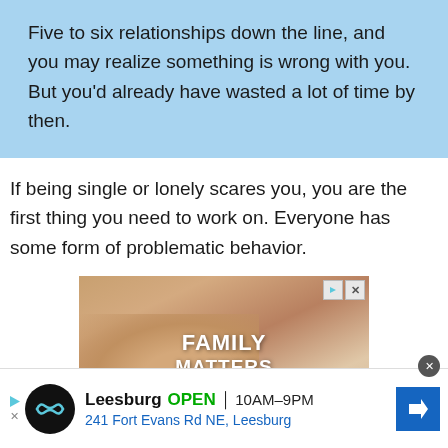Five to six relationships down the line, and you may realize something is wrong with you. But you'd already have wasted a lot of time by then.
If being single or lonely scares you, you are the first thing you need to work on. Everyone has some form of problematic behavior.
[Figure (photo): Advertisement image showing hands with text FAMILY MATTERS overlay]
[Figure (infographic): Bottom banner ad for Leesburg store: OPEN 10AM-9PM, 241 Fort Evans Rd NE, Leesburg]